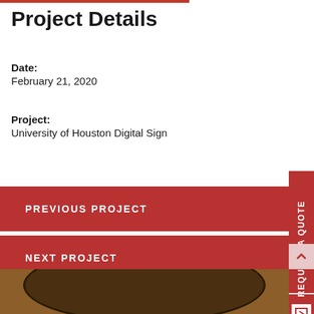Project Details
Date:
February 21, 2020
Project:
University of Houston Digital Sign
Previous Project
Next Project
Related Projects
[Figure (photo): Bottom partial view of a digital sign or display structure, brown/wood toned curved background]